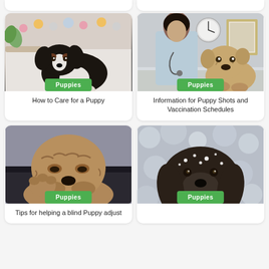[Figure (photo): Bernese Mountain Dog puppy lying on a white bed with colorful garland decorations in background]
Puppies
How to Care for a Puppy
[Figure (photo): Veterinarian examining a bulldog puppy on a table with a clock on the wall behind]
Puppies
Information for Puppy Shots and Vaccination Schedules
[Figure (photo): Wrinkly Shar Pei puppy resting on a dark leather surface]
Puppies
Tips for helping a blind Puppy adjust
[Figure (photo): Dark brown puppy covered in snow looking at camera]